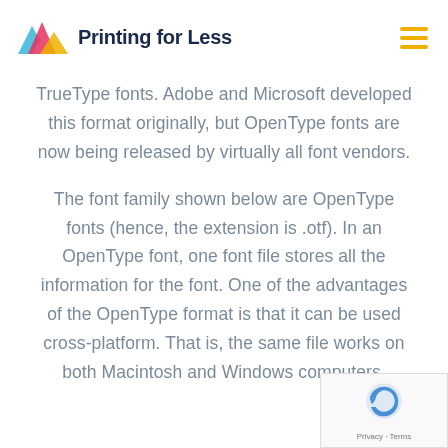Printing for Less
TrueType fonts. Adobe and Microsoft developed this format originally, but OpenType fonts are now being released by virtually all font vendors.
The font family shown below are OpenType fonts (hence, the extension is .otf). In an OpenType font, one font file stores all the information for the font. One of the advantages of the OpenType format is that it can be used cross-platform. That is, the same file works on both Macintosh and Windows computers.